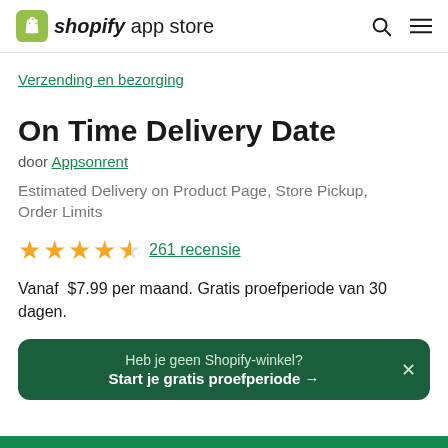shopify app store
Verzending en bezorging
On Time Delivery Date
door Appsonrent
Estimated Delivery on Product Page, Store Pickup, Order Limits
★★★★★ 261 recensie
Vanaf $7.99 per maand. Gratis proefperiode van 30 dagen.
Heb je geen Shopify-winkel? Start je gratis proefperiode →